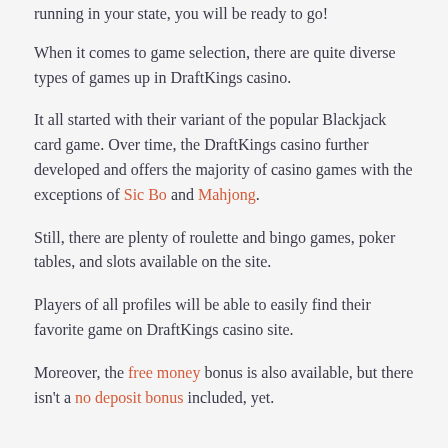running in your state, you will be ready to go!
When it comes to game selection, there are quite diverse types of games up in DraftKings casino.
It all started with their variant of the popular Blackjack card game. Over time, the DraftKings casino further developed and offers the majority of casino games with the exceptions of Sic Bo and Mahjong.
Still, there are plenty of roulette and bingo games, poker tables, and slots available on the site.
Players of all profiles will be able to easily find their favorite game on DraftKings casino site.
Moreover, the free money bonus is also available, but there isn't a no deposit bonus included, yet.